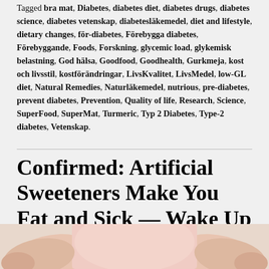Tagged bra mat, Diabetes, diabetes diet, diabetes drugs, diabetes science, diabetes vetenskap, diabetesläkemedel, diet and lifestyle, dietary changes, för-diabetes, Förebygga diabetes, Förebyggande, Foods, Forskning, glycemic load, glykemisk belastning, God hälsa, Goodfood, Goodhealth, Gurkmeja, kost och livsstil, kostförändringar, LivsKvalitet, LivsMedel, low-GL diet, Natural Remedies, Naturläkemedel, nutrious, pre-diabetes, prevent diabetes, Prevention, Quality of life, Research, Science, SuperFood, SuperMat, Turmeric, Typ 2 Diabetes, Type-2 diabetes, Vetenskap.
Confirmed: Artificial Sweeteners Make You Fat and Sick — Wake Up World – May 12th, 2018
[Figure (photo): Photo of a person's midsection wearing a pink top, with hands at sides, suggesting overweight/obesity theme related to the article about artificial sweeteners.]